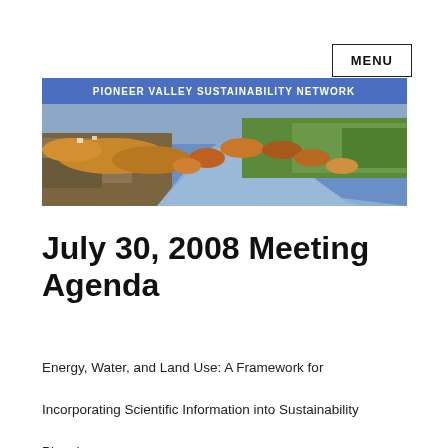MENU
[Figure (photo): Aerial landscape photo of a river winding through farmland and autumn-colored trees with a blue header bar reading 'PIONEER VALLEY SUSTAINABILITY NETWORK']
July 30, 2008 Meeting Agenda
Energy, Water, and Land Use: A Framework for Incorporating Scientific Information into Sustainability Planning